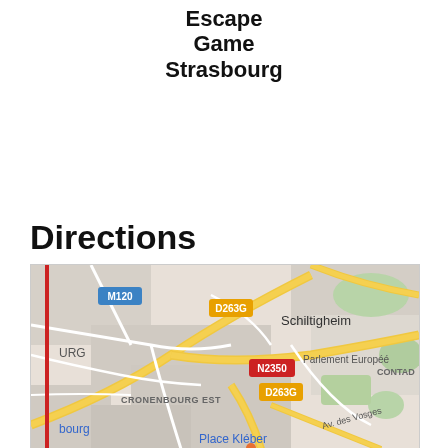Escape Game Strasbourg
Directions
[Figure (map): Google Maps view showing Strasbourg area including Schiltigheim, Parlement Européen, Cronenbourg Est, Place Kléber, D263G, N2350, M120 road labels, and Av. des Vosges. A red vertical line is drawn on the left side of the map.]